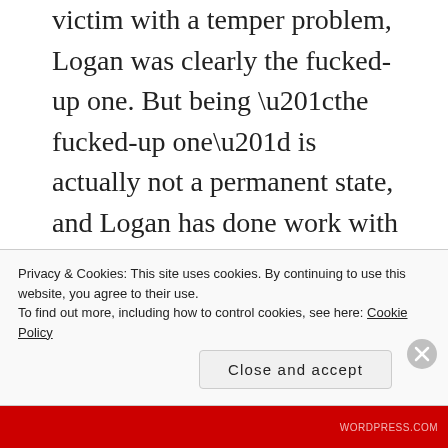victim with a temper problem, Logan was clearly the fucked-up one. But being “the fucked-up one” is actually not a permanent state, and Logan has done work with himself to deal with his temper and his problems, whereas Veronica has simply refused. So now he’s growing up, and she’s stuck in this limbo where she just wants to have banter with her dad, and not make a commitment, and use quips and defensiveness instead of actually dealing with any of her fears or her feelings or her traumas. So the streams have crossed, and now the abused thirty-
Privacy & Cookies: This site uses cookies. By continuing to use this website, you agree to their use.
To find out more, including how to control cookies, see here: Cookie Policy
Close and accept